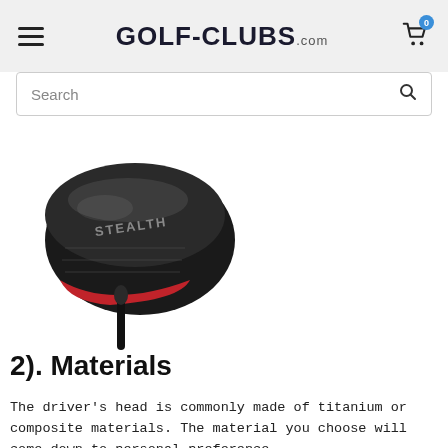GOLF-CLUBS.com
Search
[Figure (photo): A TaylorMade Stealth golf driver head, black and red colorway, viewed from the top-front angle showing the crown with STEALTH branding.]
2). Materials
The driver’s head is commonly made of titanium or composite materials. The material you choose will come down to personal preference.